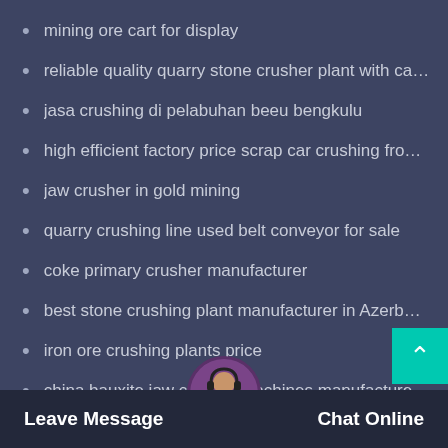mining ore cart for display
reliable quality quarry stone crusher plant with capac...
jasa crushing di pelabuhan beeu bengkulu
high efficient factory price scrap car crushing from b...
jaw crusher in gold mining
quarry crushing line used belt conveyor for sale
coke primary crusher manufacturer
best stone crushing plant manufacturer in Azerbaijan
iron ore crushing plants price
china bauxite jaw crusher machines manufacture...
Leave Message   Chat Online